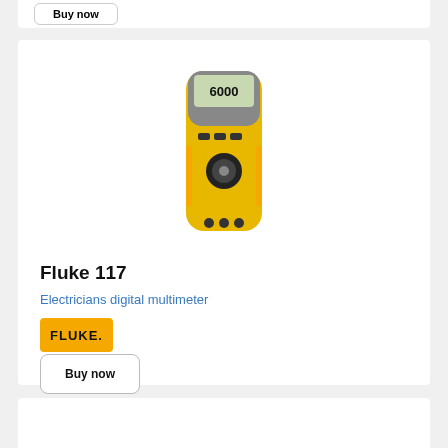[Figure (photo): Fluke 117 digital multimeter device, yellow and black body with display showing 6000]
Fluke 117
Electricians digital multimeter
[Figure (logo): FLUKE brand logo on orange/yellow badge]
Buy now
[Figure (photo): Solder reel product, partially visible at bottom of page]